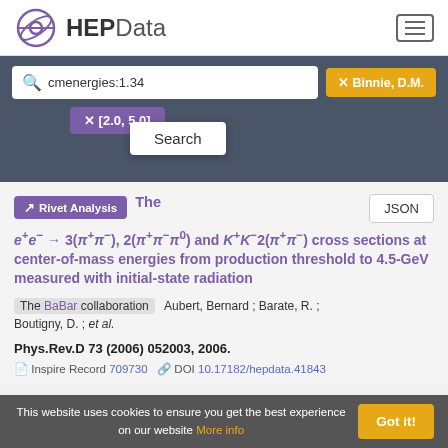HEPData
cmenergies:1.34
✕ Binnie, D.M.
✕ [2.0, 5.0]
Search
The e+e− → 3(π+π−), 2(π+π−π0) and K+K−2(π+π−) cross sections at center-of-mass energies from production threshold to 4.5-GeV measured with initial-state radiation
The BaBar collaboration   Aubert, Bernard ; Barate, R. ; Boutigny, D. ; et al.
Phys.Rev.D 73 (2006) 052003, 2006.
Inspire Record 709730  DOI 10.17182/hepdata.41843
This website uses cookies to ensure you get the best experience on our website More info